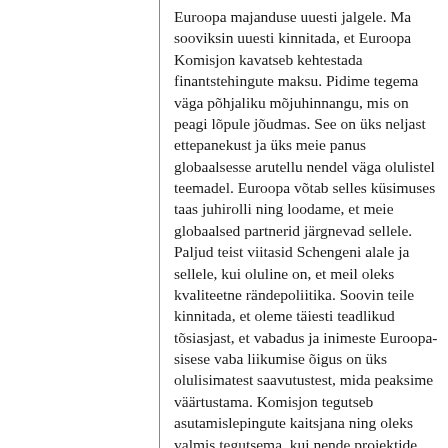Euroopa majanduse uuesti jalgele. Ma sooviksin uuesti kinnitada, et Euroopa Komisjon kavatseb kehtestada finantstehingute maksu. Pidime tegema väga põhjaliku mõjuhinnangu, mis on peagi lõpule jõudmas. See on üks neljast ettepanekust ja üks meie panus globaalsesse arutellu nendel väga olulistel teemadel. Euroopa võtab selles küsimuses taas juhirolli ning loodame, et meie globaalsed partnerid järgnevad sellele. Paljud teist viitasid Schengeni alale ja sellele, kui oluline on, et meil oleks kvaliteetne rändepoliitika. Soovin teile kinnitada, et oleme täiesti teadlikud tõsiasjast, et vabadus ja inimeste Euroopa-sisese vaba liikumise õigus on üks olulisimatest saavutustest, mida peaksime väärtustama. Komisjon tegutseb asutamislepingute kaitsjana ning oleks valmis tegutsema, kui nende projektide